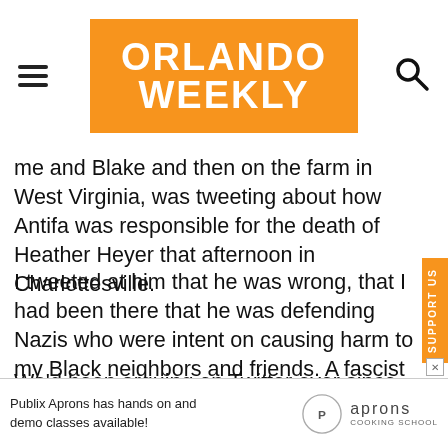Orlando Weekly
me and Blake and then on the farm in West Virginia, was tweeting about how Antifa was responsible for the death of Heather Heyer that afternoon in Charlottesville.
I tweeted at him that he was wrong, that I had been there that he was defending Nazis who were intent on causing harm to my Black neighbors and friends. A fascist had killed Heather Heyer and could have just as well killed me or anyone else in the march that day.
We'd been arguing on Twitter ever since Trump announced his run. Chuck tweeted obsessively about Pizzagate, the conspiracy theory that alleged a massive child trafficking
[Figure (logo): Orlando Weekly logo - orange background with white bold text]
SUPPORT US
Publix Aprons has hands on and demo classes available! aprons COOKING SCHOOL